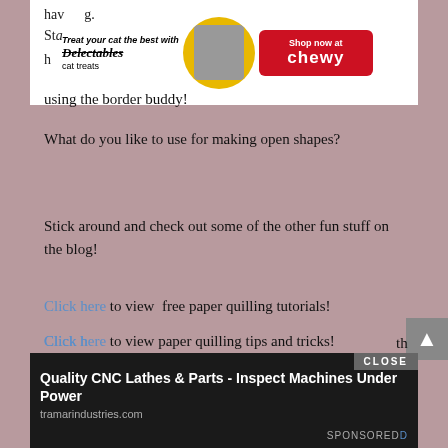[Figure (photo): Chewy.com cat treat advertisement banner showing 'Treat your cat the best with Delectables cat treats' with a cat image, yellow circle, and red Shop now at Chewy button]
using the border buddy!
What do you like to use for making open shapes?
Stick around and check out some of the other fun stuff on the blog!
Click here to view  free paper quilling tutorials!
Click here to view paper quilling tips and tricks!
Click here to view a list of places to buy quilling supplies around the world!
Click h...th
tips so...
[Figure (screenshot): Bottom advertisement: Quality CNC Lathes & Parts - Inspect Machines Under Power. tramarindustries.com. SPONSORED. With CLOSE button overlay.]